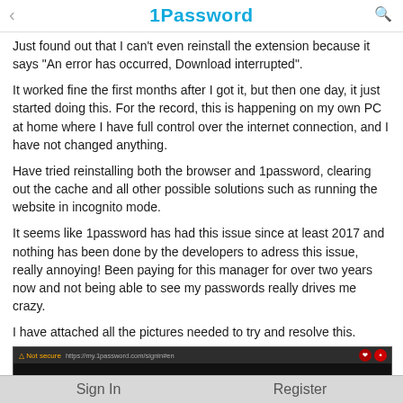1Password
Just found out that I can't even reinstall the extension because it says "An error has occurred, Download interrupted".
It worked fine the first months after I got it, but then one day, it just started doing this. For the record, this is happening on my own PC at home where I have full control over the internet connection, and I have not changed anything.
Have tried reinstalling both the browser and 1password, clearing out the cache and all other possible solutions such as running the website in incognito mode.
It seems like 1password has had this issue since at least 2017 and nothing has been done by the developers to adress this issue, really annoying! Been paying for this manager for over two years now and not being able to see my passwords really drives me crazy.
I have attached all the pictures needed to try and resolve this.
[Figure (screenshot): Screenshot of a browser showing 'Not secure' warning and https://my.1password.com/signin#en URL bar with two red extension icons and a red arrow annotation pointing to them labeled 'Brave Version']
Sign In    Register